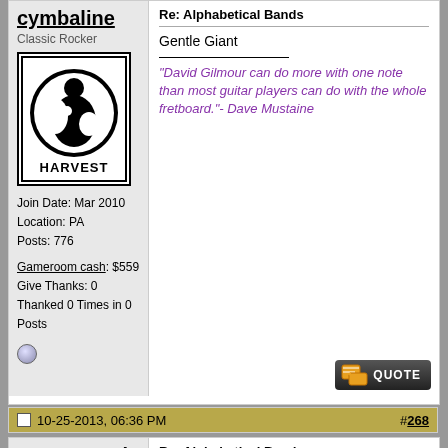cymbaline
Classic Rocker
[Figure (logo): Harvest Records logo — black and white with stylized figure and HARVEST text]
Join Date: Mar 2010
Location: PA
Posts: 776
Gameroom cash: $559
Give Thanks: 0
Thanked 0 Times in 0 Posts
Re: Alphabetical Bands
Gentle Giant
"David Gilmour can do more with one note than most guitar players can do with the whole fretboard."- Dave Mustaine
10-25-2013, 06:36 PM  #268
CrazyConnie
Moderator
Moderator
Re: Alphabetical Bands
Helix